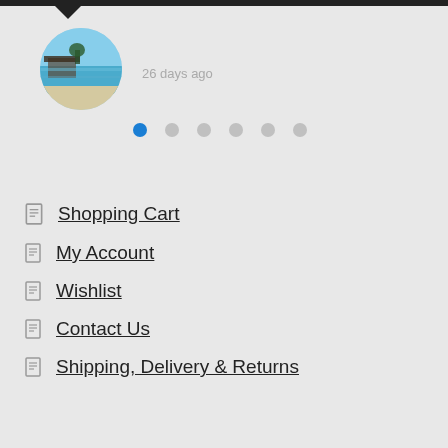[Figure (photo): Circular avatar image showing a beach/tropical resort scene with blue water and structures]
26 days ago
[Figure (infographic): Pagination dots: 6 dots in a row, first one filled blue, remaining grey]
Shopping Cart
My Account
Wishlist
Contact Us
Shipping, Delivery & Returns